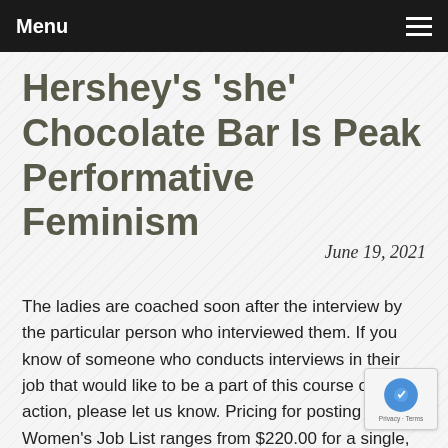Menu
Hershey's 'she' Chocolate Bar Is Peak Performative Feminism
June 19, 2021
The ladies are coached soon after the interview by the particular person who interviewed them. If you know of someone who conducts interviews in their job that would like to be a part of this course of action, please let us know. Pricing for posting jobs on Women's Job List ranges from $220.00 for a single, 30-day job posting to $six 🀫🀫🀫🀫,🀫🀫🀫 for a Premium Package of fifty 30-day job posts. Women's Job List is an on the web job posting and career platfo...